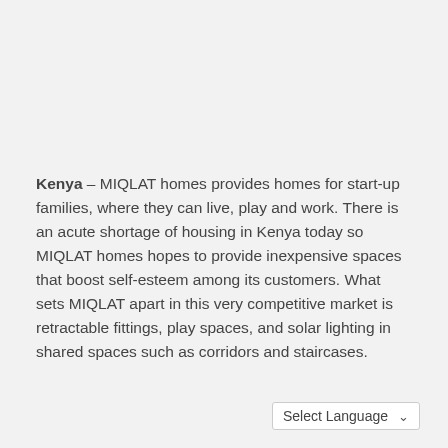Kenya – MIQLAT homes provides homes for start-up families, where they can live, play and work. There is an acute shortage of housing in Kenya today so MIQLAT homes hopes to provide inexpensive spaces that boost self-esteem among its customers. What sets MIQLAT apart in this very competitive market is retractable fittings, play spaces, and solar lighting in shared spaces such as corridors and staircases.
Select Language